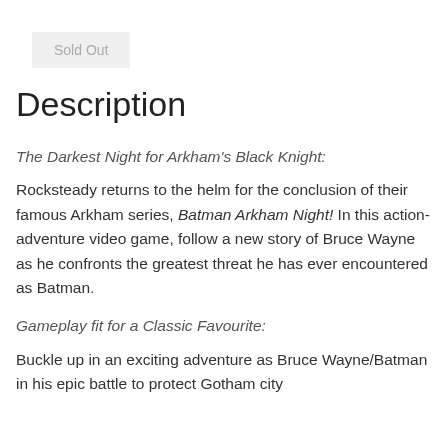Sold Out
Description
The Darkest Night for Arkham's Black Knight:
Rocksteady returns to the helm for the conclusion of their famous Arkham series, Batman Arkham Night! In this action-adventure video game, follow a new story of Bruce Wayne as he confronts the greatest threat he has ever encountered as Batman.
Gameplay fit for a Classic Favourite:
Buckle up in an exciting adventure as Bruce Wayne/Batman in his epic battle to protect Gotham city